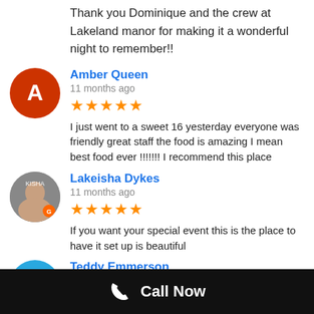Thank you Dominique and the crew at Lakeland manor for making it a wonderful night to remember!!
Amber Queen
11 months ago
★★★★★ I just went to a sweet 16 yesterday everyone was friendly great staff the food is amazing I mean best food ever !!!!!!! I recommend this place
Lakeisha Dykes
11 months ago
★★★★★ If you want your special event this is the place to have it set up is beautiful
Teddy Emmerson
10 months ago
★★★★★ I would like 2 say my group was very satisfied with LAKELAND MANOR. I highly
Call Now